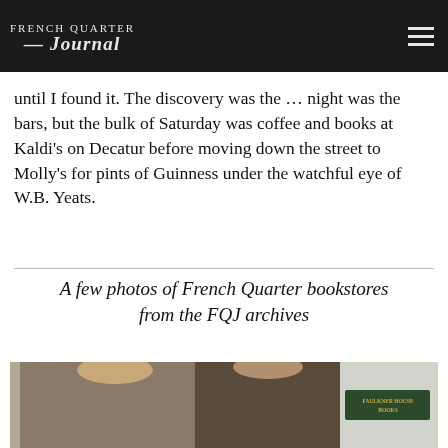French Quarter Journal
until I found it. The discovery was the … night was the bars, but the bulk of Saturday was coffee and books at Kaldi's on Decatur before moving down the street to Molly's for pints of Guinness under the watchful eye of W.B. Yeats.
A few photos of French Quarter bookstores from the FQJ archives
[Figure (photo): Two people standing in front of Faulkner House Books, a man with glasses and beard in a plaid jacket and tie, and a woman in a leopard print coat, smiling at the camera.]